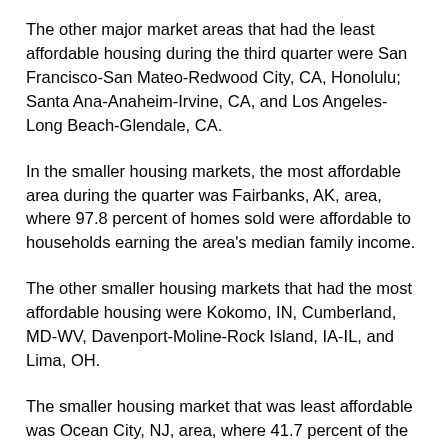The other major market areas that had the least affordable housing during the third quarter were San Francisco-San Mateo-Redwood City, CA, Honolulu; Santa Ana-Anaheim-Irvine, CA, and Los Angeles-Long Beach-Glendale, CA.
In the smaller housing markets, the most affordable area during the quarter was Fairbanks, AK, area, where 97.8 percent of homes sold were affordable to households earning the area's median family income.
The other smaller housing markets that had the most affordable housing were Kokomo, IN, Cumberland, MD-WV, Davenport-Moline-Rock Island, IA-IL, and Lima, OH.
The smaller housing market that was least affordable was Ocean City, NJ, area, where 41.7 percent of the homes were affordable to families